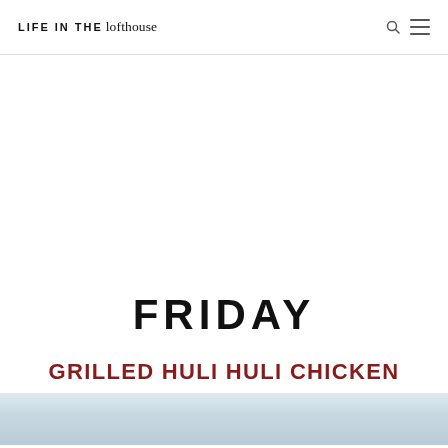LIFE IN THE lofthouse
FRIDAY
GRILLED HULI HULI CHICKEN
[Figure (photo): Bottom portion of a food photo showing a dish, partially visible at the bottom of the page.]